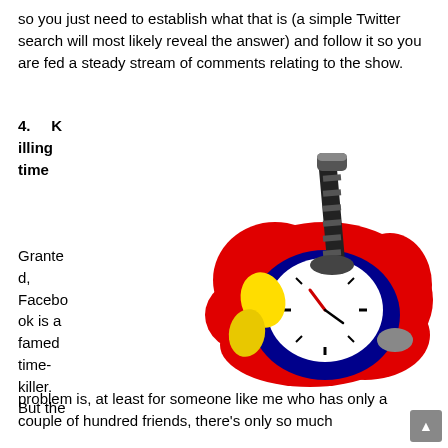so you just need to establish what that is (a simple Twitter search will most likely reveal the answer) and follow it so you are fed a steady stream of comments relating to the show.
4.   Killing time
[Figure (illustration): Cartoon illustration of a pocket watch being stabbed by a push-pin/thumbtack, with a red splatter around it and yellow teardrop shapes beside it. The watch face is white with black hour marks, the body is dark blue, and the pin is black and gray striped.]
Granted, Facebook is a famed time-killer. But the problem is, at least for someone like me who has only a couple of hundred friends, there's only so much